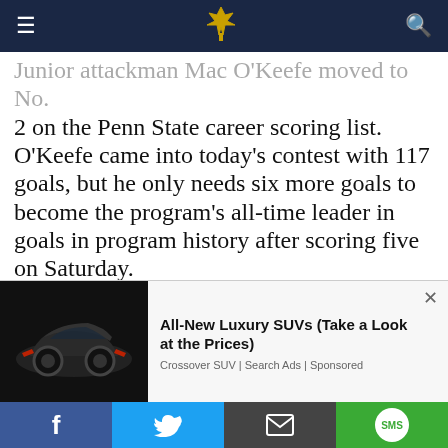[Navigation header with hamburger menu, eagle logo, and search icon]
Junior attackman Mac O'Keefe moved to No. 2 on the Penn State career scoring list. O'Keefe came into today's contest with 117 goals, but he only needs six more goals to become the program's all-time leader in goals in program history after scoring five on Saturday.
Penn State wrapped up its non-conference schedule with a 7-1 record, but things won't get any easier from here. The Nittany Lions will take on No. 4 Maryland, No. 7 Ohio State,
[Figure (photo): Advertisement showing a sleek black luxury SUV/sports car from a front-side angle on a dark background]
All-New Luxury SUVs (Take a Look at the Prices)
Crossover SUV | Search Ads | Sponsored